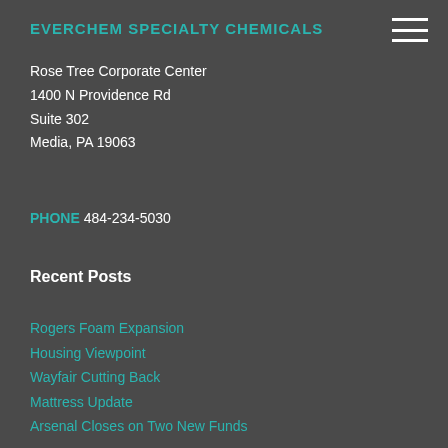EVERCHEM SPECIALTY CHEMICALS
Rose Tree Corporate Center
1400 N Providence Rd
Suite 302
Media, PA 19063
PHONE 484-234-5030
Recent Posts
Rogers Foam Expansion
Housing Viewpoint
Wayfair Cutting Back
Mattress Update
Arsenal Closes on Two New Funds
ABOUT EVERCHEM
Special Offers
Suppliers